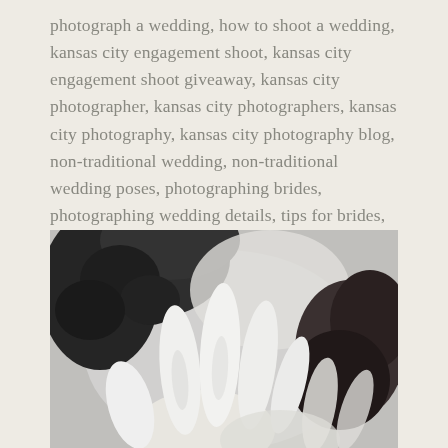photograph a wedding, how to shoot a wedding, kansas city engagement shoot, kansas city engagement shoot giveaway, kansas city photographer, kansas city photographers, kansas city photography, kansas city photography blog, non-traditional wedding, non-traditional wedding poses, photographing brides, photographing wedding details, tips for brides, tips for photos with brides, traditional wedding poses, wedding photographer tips, wedding series: tips for brides      2 comments
[Figure (photo): Black and white photograph showing two people close together, with a hand with fingers spread in the foreground, and dark curly hair visible in the upper portion of the image.]